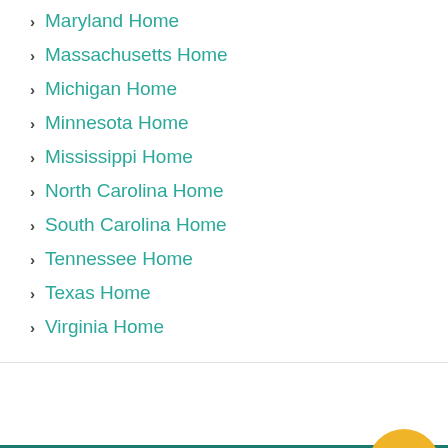Maryland Home
Massachusetts Home
Michigan Home
Minnesota Home
Mississippi Home
North Carolina Home
South Carolina Home
Tennessee Home
Texas Home
Virginia Home
Subscribe For Free Al...